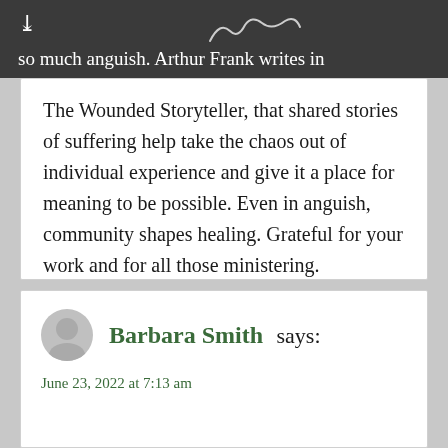so much anguish. Arthur Frank writes in
The Wounded Storyteller, that shared stories of suffering help take the chaos out of individual experience and give it a place for meaning to be possible. Even in anguish, community shapes healing. Grateful for your work and for all those ministering.
Reply
Barbara Smith says:
June 23, 2022 at 7:13 am